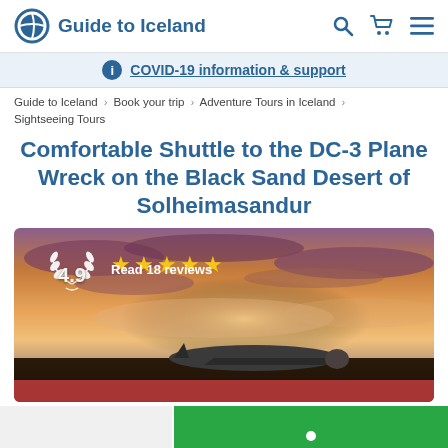Guide to Iceland
COVID-19 information & support
Guide to Iceland > Book your trip > Adventure Tours in Iceland > Sightseeing Tours
Comfortable Shuttle to the DC-3 Plane Wreck on the Black Sand Desert of Solheimasandur
[Figure (photo): Hero image of a DC-3 plane wreck on a black sand desert at sunset with dramatic orange and purple sky. Rating overlay showing 4.9 stars and 'Read 18 reviews' with laurel wreath decoration.]